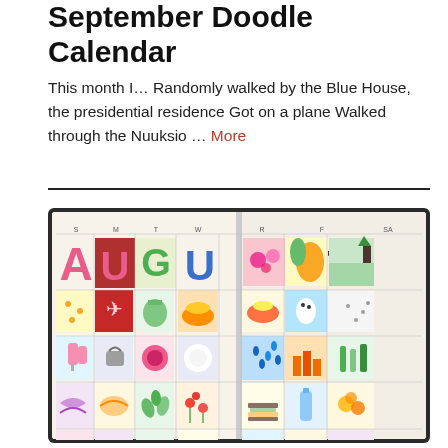September Doodle Calendar
This month I… Randomly walked by the Blue House, the presidential residence Got on a plane Walked through the Nuuksio … More
[Figure (illustration): A hand-drawn doodle calendar for August, displayed as an open notebook/journal spread. The calendar shows the word 'AUGUST' spelled out with colorful illustrated letters across the top row. Each calendar date cell contains a small hand-drawn doodle illustration in various colors. The calendar is photographed against a dark background.]